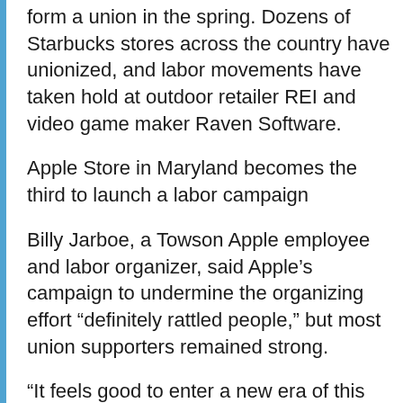form a union in the spring. Dozens of Starbucks stores across the country have unionized, and labor movements have taken hold at outdoor retailer REI and video game maker Raven Software.
Apple Store in Maryland becomes the third to launch a labor campaign
Billy Jarboe, a Towson Apple employee and labor organizer, said Apple's campaign to undermine the organizing effort “definitely rattled people,” but most union supporters remained strong.
“It feels good to enter a new era of this kind of work, I hope it will create a spark [and] other stores can use that momentum.”